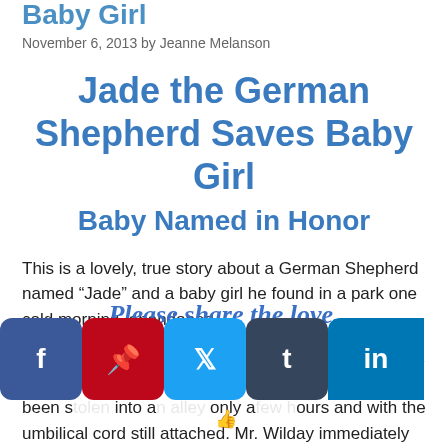Baby Girl
November 6, 2013 by Jeanne Melanson
Jade the German Shepherd Saves Baby Girl
Baby Named in Honor
This is a lovely, true story about a German Shepherd named “Jade” and a baby girl he found in a park one cold morning, abandoned.
After Jade found the baby girl, he led Roger Wilday, a 68 year-old retired engineer, to her.  The baby had been s... into a... only a... ours and with the umbilical cord still attached.  Mr. Wilday immediately called authorities and within
[Figure (infographic): Social share overlay text: Please share the love. with social media buttons: Facebook, Pinterest, Twitter, Tumblr, LinkedIn]